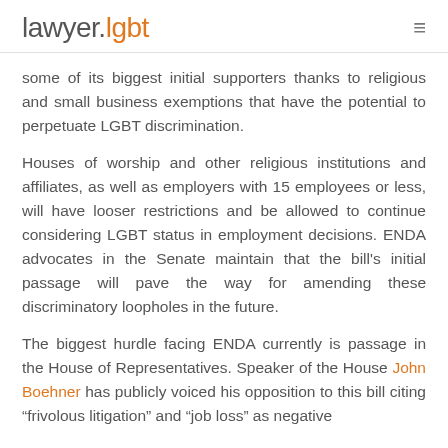lawyer.lgbt
some of its biggest initial supporters thanks to religious and small business exemptions that have the potential to perpetuate LGBT discrimination.
Houses of worship and other religious institutions and affiliates, as well as employers with 15 employees or less, will have looser restrictions and be allowed to continue considering LGBT status in employment decisions. ENDA advocates in the Senate maintain that the bill's initial passage will pave the way for amending these discriminatory loopholes in the future.
The biggest hurdle facing ENDA currently is passage in the House of Representatives. Speaker of the House John Boehner has publicly voiced his opposition to this bill citing "frivolous litigation" and "job loss" as negative